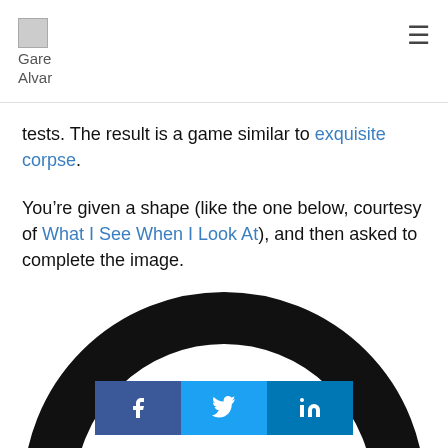Gare Alvar
tests. The result is a game similar to exquisite corpse.
You’re given a shape (like the one below, courtesy of What I See When I Look At), and then asked to complete the image.
[Figure (illustration): A circular black ring shape (like a steering wheel or abstract circle) partially visible at the bottom of the page, with a social sharing bar overlaid showing Facebook, Twitter, and LinkedIn buttons.]